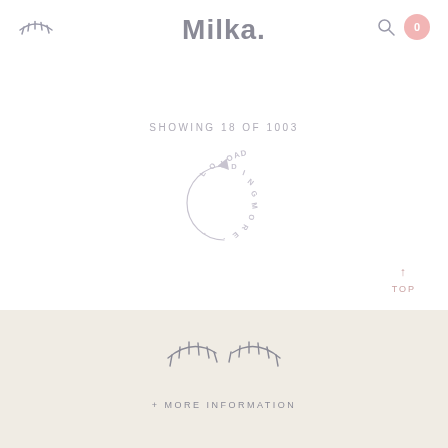Milka.
SHOWING 18 OF 1003
[Figure (illustration): Circular loading animation with text 'LOADING MORE...' arranged in a circle]
↑ TOP
[Figure (illustration): Decorative eyelash/eye logo in outline style, two sets of lashes]
+ MORE INFORMATION